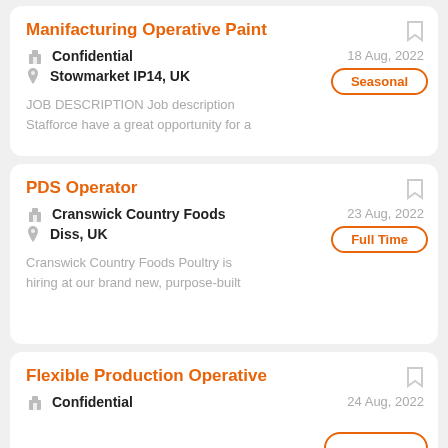Manifacturing Operative Paint
Confidential
Stowmarket IP14, UK
18 Aug, 2022
Seasonal
JOB DESCRIPTION Job description Stafforce have a great opportunity for a
PDS Operator
Cranswick Country Foods
Diss, UK
23 Aug, 2022
Full Time
Cranswick Country Foods Poultry is hiring at our brand new, purpose-built
Flexible Production Operative
Confidential
24 Aug, 2022